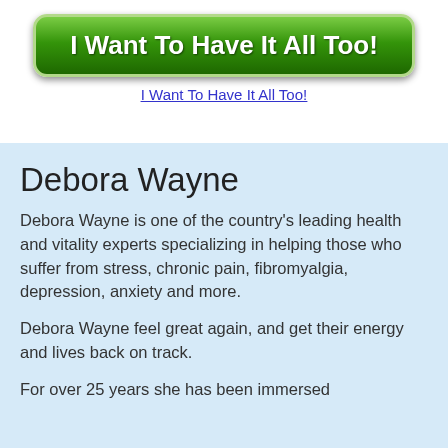[Figure (other): Green rounded button with white bold text reading 'I Want To Have It All Too!']
I Want To Have It All Too!
Debora Wayne
Debora Wayne is one of the country's leading health and vitality experts specializing in helping those who suffer from stress, chronic pain, fibromyalgia, depression, anxiety and more.
Debora Wayne feel great again, and get their energy and lives back on track.
For over 25 years she has been immersed